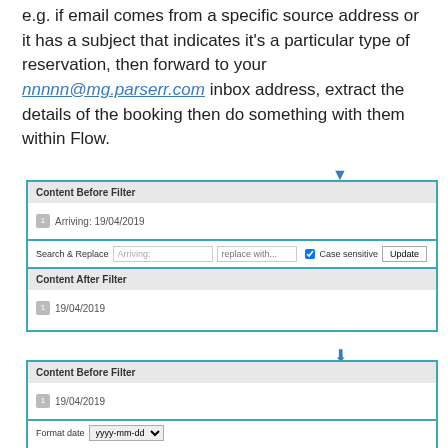e.g. if email comes from a specific source address or it has a subject that indicates it's a particular type of reservation, then forward to your nnnnn@mg.parserr.com inbox address, extract the details of the booking then do something with them within Flow.
[Figure (screenshot): UI screenshot showing two filter configuration panels with 'Content Before Filter' and 'Content After Filter' sections. First panel shows Search & Replace filter with 'Arriving:' search term and '19/04/2019' content. Second panel shows Format date filter with 'yyyy-mm-dd' dropdown and '19/04/2019' content.]